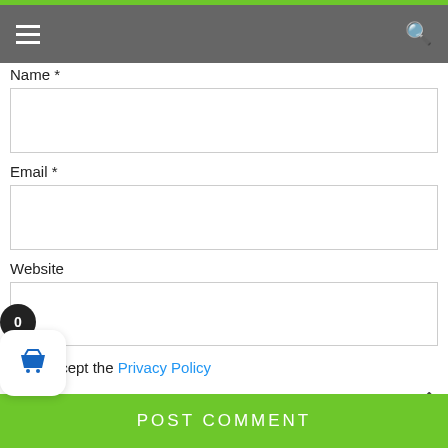Navigation bar with hamburger menu and search icon
Name *
Email *
Website
I accept the Privacy Policy
Notify me of new posts by email.
POST COMMENT